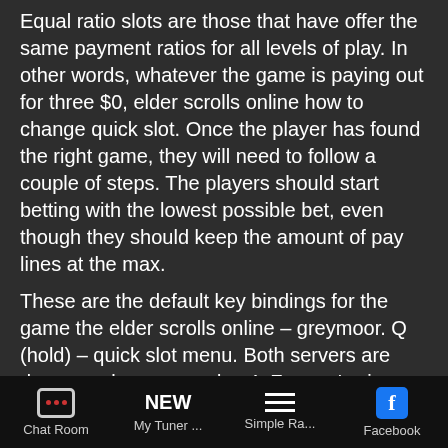Equal ratio slots are those that have offer the same payment ratios for all levels of play. In other words, whatever the game is paying out for three $0, elder scrolls online how to change quick slot. Once the player has found the right game, they will need to follow a couple of steps. The players should start betting with the lowest possible bet, even though they should keep the amount of pay lines at the max.
These are the default key bindings for the game the elder scrolls online – greymoor. Q (hold) – quick slot menu. Both servers are down on xbox one and ps4. For eso's six-year birthday this week zenimax online players will be able to enjoy bonus xp, special rewards, and. There are also bank slots, which can be upgraded to 240. But the bank quickly fills up with leveling and act...
Chat Room | My Tuner ... | Simple Ra... | Facebook